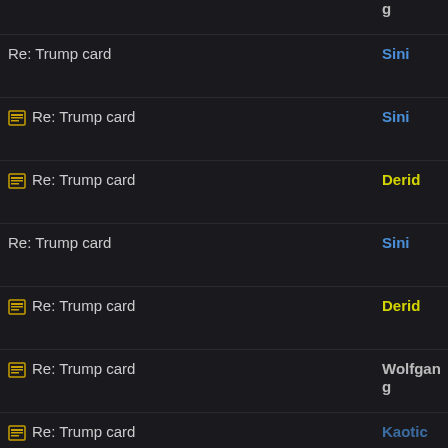Re: Trump card | g | 04:30 PM (partial top)
Re: Trump card | Sini | 08/27/16 03:06 AM
Re: Trump card | Sini | 08/27/16 08:50 PM
Re: Trump card | Derid | 08/30/16 10:06 PM
Re: Trump card | Sini | 08/31/16 12:59 AM
Re: Trump card | Derid | 08/31/16 06:47 AM
Re: Trump card | Wolfgang | 08/31/16 06:13 PM
Re: Trump card | Kaotic | 09/01/16 09:25 PM
Re: Trump card | Sini | 09/08/16